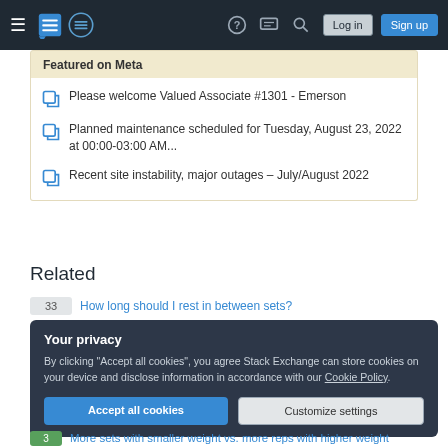Stack Exchange navigation bar with hamburger menu, logo, help, chat, search icons, Log in and Sign up buttons
Featured on Meta
Please welcome Valued Associate #1301 - Emerson
Planned maintenance scheduled for Tuesday, August 23, 2022 at 00:00-03:00 AM...
Recent site instability, major outages – July/August 2022
Related
33  How long should I rest in between sets?
Your privacy
By clicking "Accept all cookies", you agree Stack Exchange can store cookies on your device and disclose information in accordance with our Cookie Policy.
3  More sets with smaller weight vs. more reps with higher weight